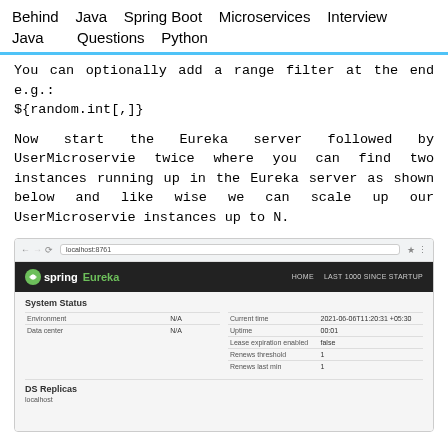Behind   Java   Spring Boot   Microservices   Interview
Java      Questions   Python
You can optionally add a range filter at the end e.g.:
${random.int[,]}
Now start the Eureka server followed by UserMicroservie twice where you can find two instances running up in the Eureka server as shown below and like wise we can scale up our UserMicroservie instances up to N.
[Figure (screenshot): Screenshot of Spring Eureka dashboard showing System Status with Environment N/A, Data center N/A, Current time, Uptime, Lease expiration enabled false, Renews threshold 1, Renews last min 1, and DS Replicas section]